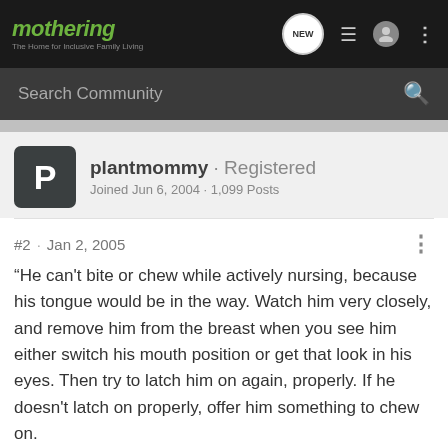mothering · The Home for Inclusive Family Living
Search Community
plantmommy · Registered
Joined Jun 6, 2004 · 1,099 Posts
#2 · Jan 2, 2005
“He can't bite or chew while actively nursing, because his tongue would be in the way. Watch him very closely, and remove him from the breast when you see him either switch his mouth position or get that look in his eyes. Then try to latch him on again, properly. If he doesn't latch on properly, offer him something to chew on.
Reply   Quote